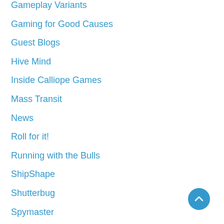Gameplay Variants
Gaming for Good Causes
Guest Blogs
Hive Mind
Inside Calliope Games
Mass Transit
News
Roll for it!
Running with the Bulls
ShipShape
Shutterbug
Spymaster
Station Master
The Mansky Caper
Thieves